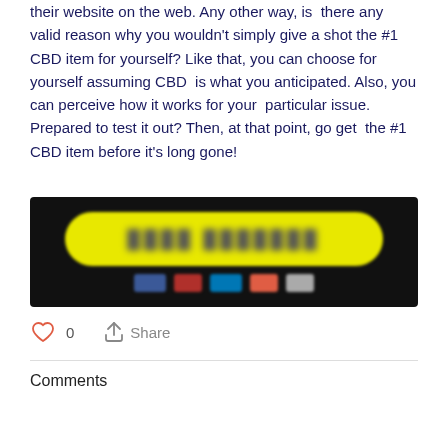their website on the web. Any other way, is  there any valid reason why you wouldn't simply give a shot the #1 CBD item for yourself? Like that, you can choose for yourself assuming CBD  is what you anticipated. Also, you can perceive how it works for your  particular issue. Prepared to test it out? Then, at that point, go get  the #1 CBD item before it's long gone!
[Figure (screenshot): A blurred screenshot showing a yellow rounded button with dark text on a black background, with social sharing icons below it.]
0
Share
Comments